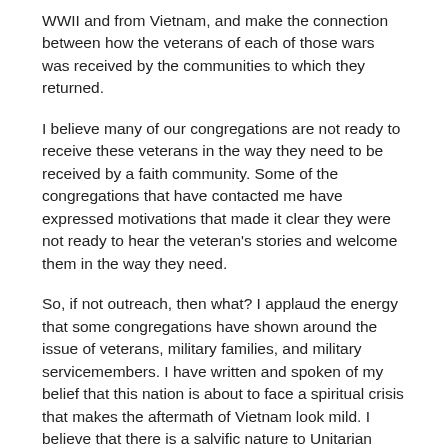WWII and from Vietnam, and make the connection between how the veterans of each of those wars was received by the communities to which they returned.
I believe many of our congregations are not ready to receive these veterans in the way they need to be received by a faith community. Some of the congregations that have contacted me have expressed motivations that made it clear they were not ready to hear the veteran's stories and welcome them in the way they need.
So, if not outreach, then what? I applaud the energy that some congregations have shown around the issue of veterans, military families, and military servicemembers. I have written and spoken of my belief that this nation is about to face a spiritual crisis that makes the aftermath of Vietnam look mild. I believe that there is a salvific nature to Unitarian Universalist Faith that can play a deep role in the spiritual healing of some of those veterans, just as it did in my own life. But I also believe that our congregations are not yet ready for that role.
We as a denomination know how to get ready to play a positive role in helping our veterans, their families, and our nation weather the spiritual storm I see on the horizon, because we have done it before. I have begun to recommend (and develop resources for) our congregations to take a deep look at our own reactions, assumptions, prejudices, and